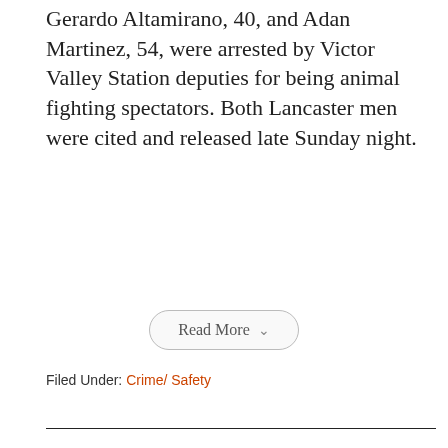Gerardo Altamirano, 40, and Adan Martinez, 54, were arrested by Victor Valley Station deputies for being animal fighting spectators. Both Lancaster men were cited and released late Sunday night.
Read More
Filed Under: Crime/ Safety
[Figure (other): Search box with placeholder text 'Type search term and press enter ...']
[Figure (other): Banner with text 'A NIGHT OF COMEDY!' on a red-orange gradient background]